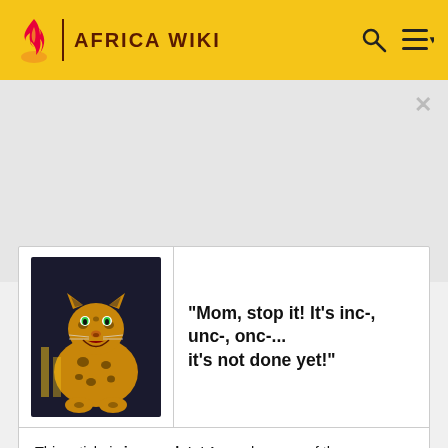AFRICA WIKI
[Figure (screenshot): Africa Wiki website header with flame logo, site title, search and menu icons on yellow background]
[Figure (illustration): Painting of a roaring leopard]
"Mom, stop it! It's inc-, unc-, onc-... it's not done yet!"
This article is incomplete! As such, some of the information might be inaccurate or likely to change. You're very welcome to help us improve the article, by adding more information or correcting the mistakes!